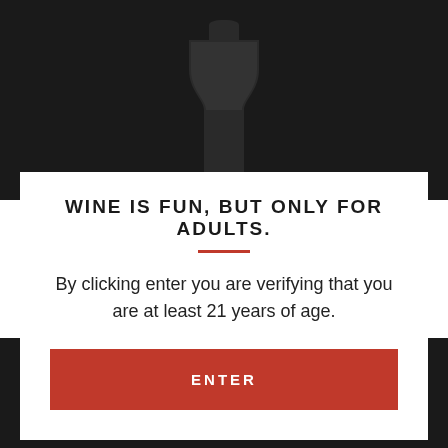[Figure (illustration): Dark background with wine bottle silhouette visible at top]
WINE IS FUN, BUT ONLY FOR ADULTS.
By clicking enter you are verifying that you are at least 21 years of age.
ENTER
Quantity — 1 +